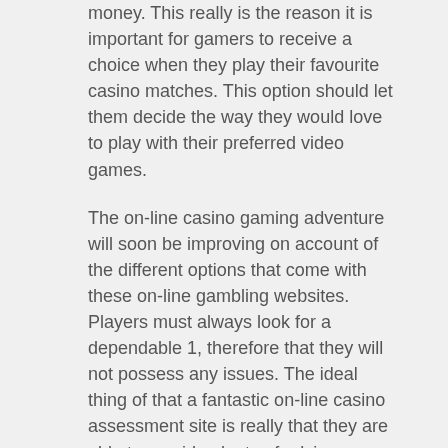money. This really is the reason it is important for gamers to receive a choice when they play their favourite casino matches. This option should let them decide the way they would love to play with their preferred video games.
The on-line casino gaming adventure will soon be improving on account of the different options that come with these on-line gambling websites. Players must always look for a dependable 1, therefore that they will not possess any issues. The ideal thing of that a fantastic on-line casino assessment site is really that they are able to provide plenty of advice regarding a specific online casino web page to gamers. The website generally contains information concerning its rank, the range of players playing in it and the variety of wins it's ever received. It may additionally contain invaluable strategies for gamers who would like to better their odds of winning.
Many sites are giving VIP gamers the possiblity to gain a real income as a result of live dealer casinos. The reside merchant characteristic of a specific online casino internet web site brings more VIP gamers since they can control their particular speed. Players may pick when they would like to play and the way they